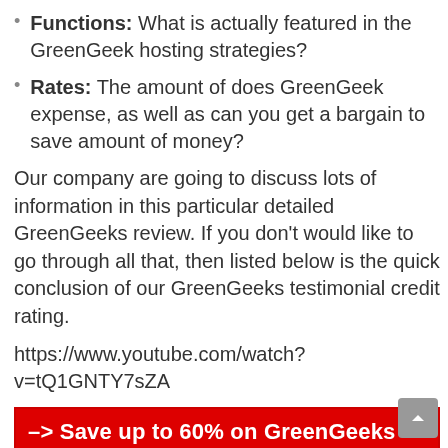Functions: What is actually featured in the GreenGeek hosting strategies?
Rates: The amount of does GreenGeek expense, as well as can you get a bargain to save amount of money?
Our company are going to discuss lots of information in this particular detailed GreenGeeks review. If you don't would like to go through all that, then listed below is the quick conclusion of our GreenGeeks testimonial credit rating.
https://www.youtube.com/watch?v=tQ1GNTY7sZA
–> Save up to 60% on GreenGeeks Plans here <–